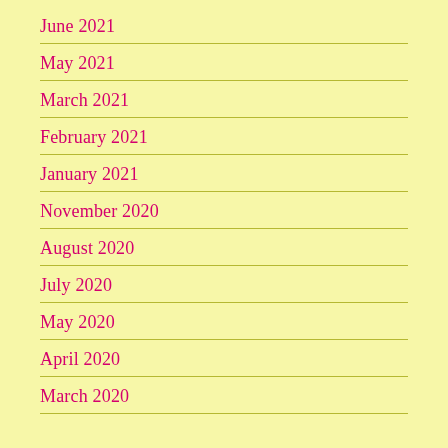June 2021
May 2021
March 2021
February 2021
January 2021
November 2020
August 2020
July 2020
May 2020
April 2020
March 2020